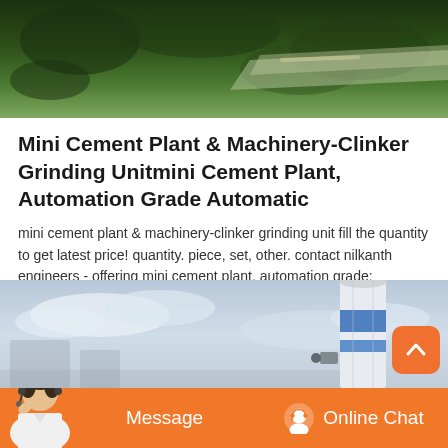[Figure (photo): Aerial view of a facility with green trees and landscaped grounds, partial view at top of page]
Mini Cement Plant & Machinery-Clinker Grinding Unitmini Cement Plant, Automation Grade Automatic
mini cement plant & machinery-clinker grinding unit fill the quantity to get latest price! quantity. piece, set, other. contact nilkanth engineers - offering mini cement plant, automation grade: automatic at rs 100000000/piece(s) in rajkot, gujarat. read about company.,mini cement plant manufacturer from jodhpur,manufacturer of cement plant - mini cement plant, automatic cement plant, clinker grinding plant and white cement grinding plant offered by laxmi engineers,
[Figure (photo): Exterior photo of a cement plant facility with a tall white and blue silo/tower against a cloudy sky]